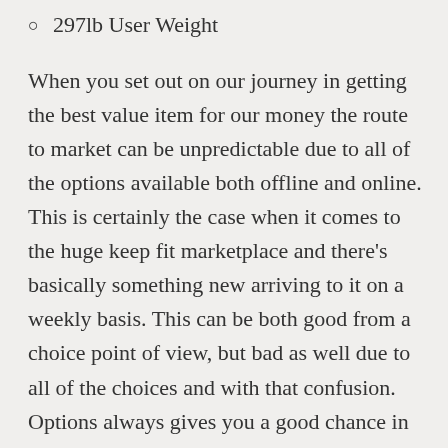297lb User Weight
When you set out on our journey in getting the best value item for our money the route to market can be unpredictable due to all of the options available both offline and online. This is certainly the case when it comes to the huge keep fit marketplace and there’s basically something new arriving to it on a weekly basis. This can be both good from a choice point of view, but bad as well due to all of the choices and with that confusion. Options always gives you a good chance in grabbing yourself a bargain and the only way in which to ensure that is by making item comparisons.
We all have our own ideas of what is the best machine for our needs and the one above could be the one with all of its quality features including up to an